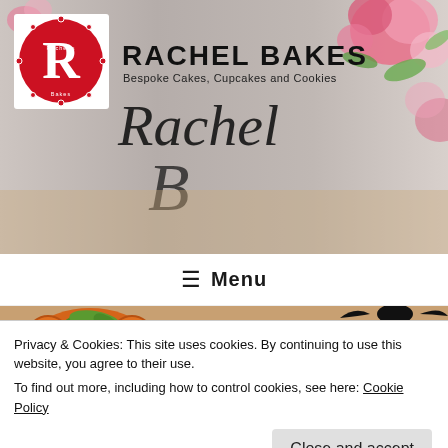[Figure (illustration): Rachel Bakes website header banner with floral decorations, red circular logo with 'R', site title 'RACHEL BAKES' in bold, cursive 'Rachel' script overlay, and subtitle 'Bespoke Cakes, Cupcakes and Cookies']
RACHEL BAKES
Bespoke Cakes, Cupcakes and Cookies
≡ Menu
[Figure (photo): Halloween pumpkin decorated cookie in orange with green fondant leaves, with text overlay reading 'Halloween Pumpkins!' in orange italic font]
Privacy & Cookies: This site uses cookies. By continuing to use this website, you agree to their use.
To find out more, including how to control cookies, see here: Cookie Policy
Close and accept